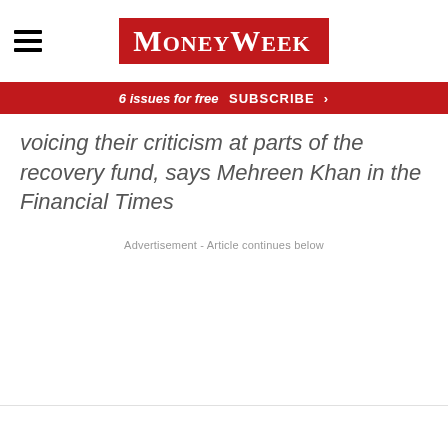MoneyWeek
6 issues for free  SUBSCRIBE >
voicing their criticism at parts of the recovery fund, says Mehreen Khan in the Financial Times
Advertisement - Article continues below